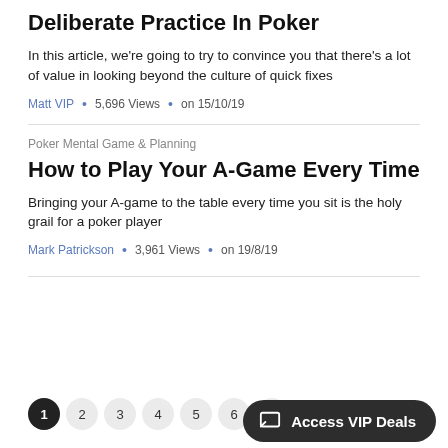Deliberate Practice In Poker
In this article, we're going to try to convince you that there's a lot of value in looking beyond the culture of quick fixes
Matt VIP • 5,696 Views • on 15/10/19
Poker Mental Game & Planning
How to Play Your A-Game Every Time
Bringing your A-game to the table every time you sit is the holy grail for a poker player
Mark Patrickson • 3,961 Views • on 19/8/19
1  2  3  4  5  6  7
Access VIP Deals